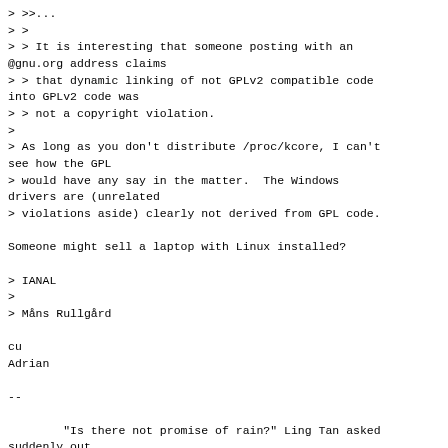> >>...
> >
> > It is interesting that someone posting with an @gnu.org address claims
> > that dynamic linking of not GPLv2 compatible code into GPLv2 code was
> > not a copyright violation.
>
> As long as you don't distribute /proc/kcore, I can't see how the GPL
> would have any say in the matter.  The Windows drivers are (unrelated
> violations aside) clearly not derived from GPL code.

Someone might sell a laptop with Linux installed?

> IANAL
>
> Måns Rullgård

cu
Adrian

--

        "Is there not promise of rain?" Ling Tan asked suddenly out
         of the darkness. There had been need of rain for many days.
        "Only a promise," Lao Er said.
                                                    Pearl S. Buck